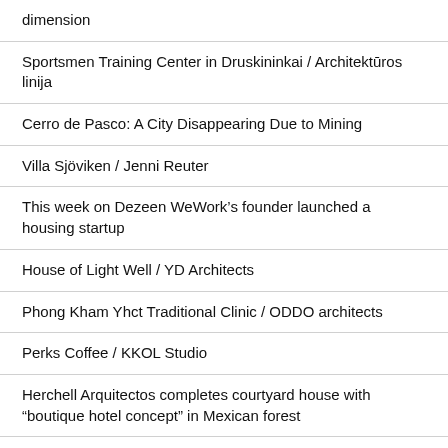dimension
Sportsmen Training Center in Druskininkai / Architektūros linija
Cerro de Pasco: A City Disappearing Due to Mining
Villa Sjöviken / Jenni Reuter
This week on Dezeen WeWork's founder launched a housing startup
House of Light Well / YD Architects
Phong Kham Yhct Traditional Clinic / ODDO architects
Perks Coffee / KKOL Studio
Herchell Arquitectos completes courtyard house with “boutique hotel concept” in Mexican forest
Serena Williams Building at Nike World Headquarters / Skylab Architecture
Los Angeles’ third tallest skyscraper to be a “modern interpretation of an Italian hill town”